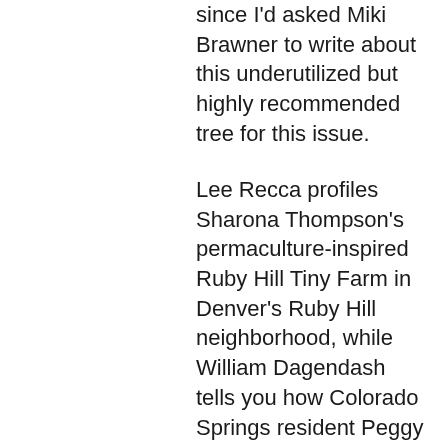since I'd asked Miki Brawner to write about this underutilized but highly recommended tree for this issue.
Lee Recca profiles Sharona Thompson's permaculture-inspired Ruby Hill Tiny Farm in Denver's Ruby Hill neighborhood, while William Dagendash tells you how Colorado Springs resident Peggy Greenwood builds her compost pile.
Chatfield Farms, Denver Botanic Gardens' south Denver campus, still remains undiscovered by too many Colorado gardeners. The Prairie Gardens near the Visitor's Center at Chatfield, designed by Lauren Springer Ogden, are a complete